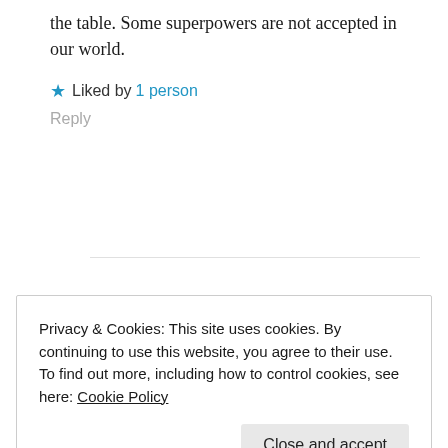the table. Some superpowers are not accepted in our world.
★ Liked by 1 person
Reply
Privacy & Cookies: This site uses cookies. By continuing to use this website, you agree to their use.
To find out more, including how to control cookies, see here: Cookie Policy
Close and accept